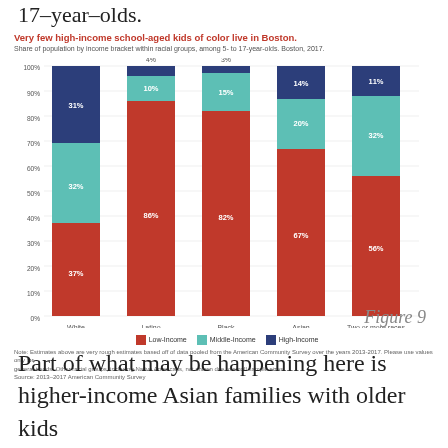17–year–olds.
[Figure (stacked-bar-chart): Very few high-income school-aged kids of color live in Boston.]
Figure 9
Part of what may be happening here is higher-income Asian families with older kids